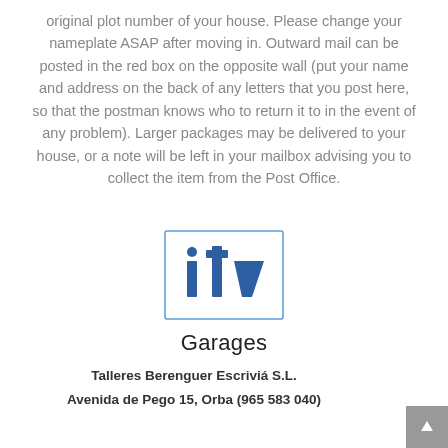original plot number of your house. Please change your nameplate ASAP after moving in. Outward mail can be posted in the red box on the opposite wall (put your name and address on the back of any letters that you post here, so that the postman knows who to return it to in the event of any problem). Larger packages may be delivered to your house, or a note will be left in your mailbox advising you to collect the item from the Post Office.
[Figure (logo): ITV logo — blue letters 'itv' with a dot above the 'i', inside a light blue rectangular border]
Garages
Talleres Berenguer Escriviá S.L.
Avenida de Pego 15, Orba (965 583 040)